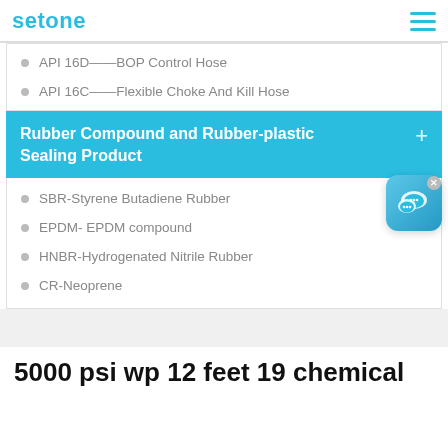setone
API 16D——BOP Control Hose
API 16C——Flexible Choke And Kill Hose
Rubber Compound and Rubber-plastic Sealing Product
SBR-Styrene Butadiene Rubber
EPDM- EPDM compound
HNBR-Hydrogenated Nitrile Rubber
CR-Neoprene
5000 psi wp 12 feet 19 chemical